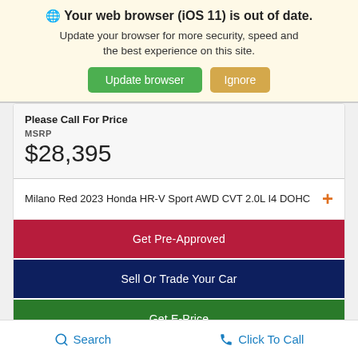🌐 Your web browser (iOS 11) is out of date.
Update your browser for more security, speed and the best experience on this site.
Update browser | Ignore
Please Call For Price
MSRP
$28,395
Milano Red 2023 Honda HR-V Sport AWD CVT 2.0L I4 DOHC
Get Pre-Approved
Sell Or Trade Your Car
Get E-Price
🔍 Search   📞 Click To Call